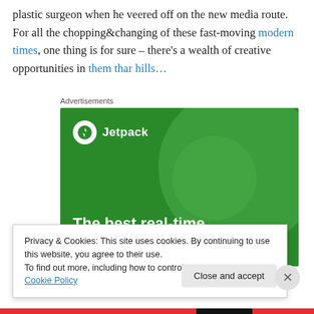plastic surgeon when he veered off on the new media route. For all the chopping&changing of these fast-moving modern times, one thing is for sure – there's a wealth of creative opportunities in them thar hills…
Advertisements
[Figure (advertisement): Jetpack green advertisement banner reading 'The best real-time WordPress backup plugin' with Jetpack logo]
Privacy & Cookies: This site uses cookies. By continuing to use this website, you agree to their use.
To find out more, including how to control cookies, see here: Cookie Policy